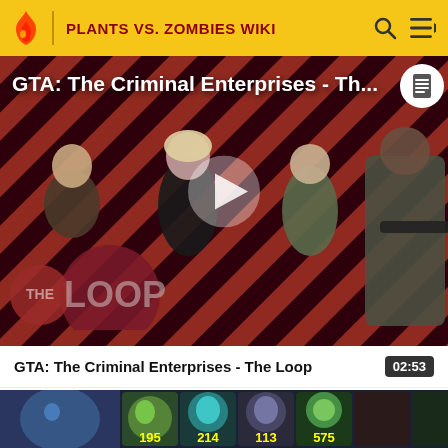PLANTS VS. ZOMBIES WIKI
[Figure (screenshot): Video thumbnail for GTA: The Criminal Enterprises - The Loop, showing characters against a red diagonal stripe background with THE LOOP logo overlay and a play button in the center. Top overlay shows truncated title 'GTA: The Criminal Enterprises - Th...']
GTA: The Criminal Enterprises - The Loop
02:53
[Figure (screenshot): Partial video thumbnail showing Plants vs Zombies game UI with plant icons and scores: 195, 214, 113, 575]